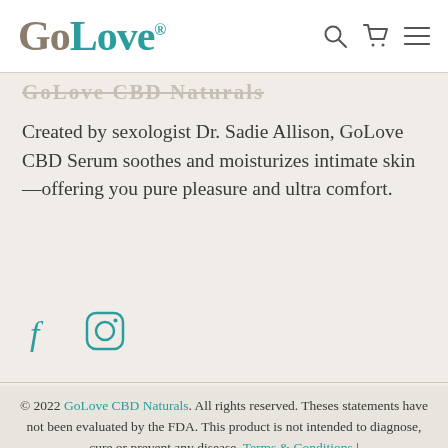GoLove (navigation bar with search, cart, and menu icons)
GoLove CBD Naturals
Created by sexologist Dr. Sadie Allison, GoLove CBD Serum soothes and moisturizes intimate skin—offering you pure pleasure and ultra comfort.
[Figure (other): Social media icons: Facebook and Instagram, rendered in teal/turquoise outline style]
© 2022 GoLove CBD Naturals. All rights reserved. Theses statements have not been evaluated by the FDA. This product is not intended to diagnose, cure or prevent any disease. Terms & Conditions | Privacy